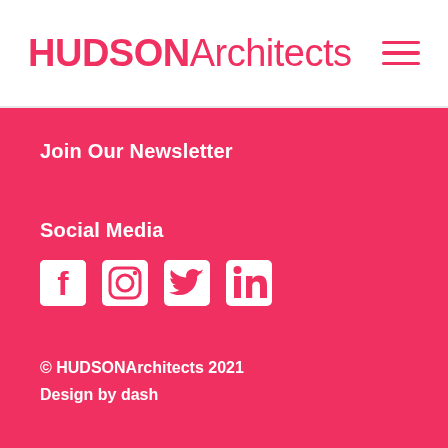HUDSONArchitects
Join Our Newsletter
Social Media
[Figure (infographic): Social media icons: Facebook, Instagram, Twitter, LinkedIn]
© HUDSONArchitects 2021
Design by dash